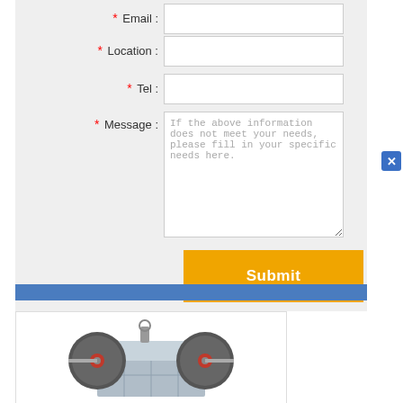* Email :
* Location :
* Tel :
* Message :
If the above information does not meet your needs, please fill in your specific needs here.
Submit
[Figure (photo): Industrial jaw crusher machine with two large black and red flywheels, grey body, viewed from the side]